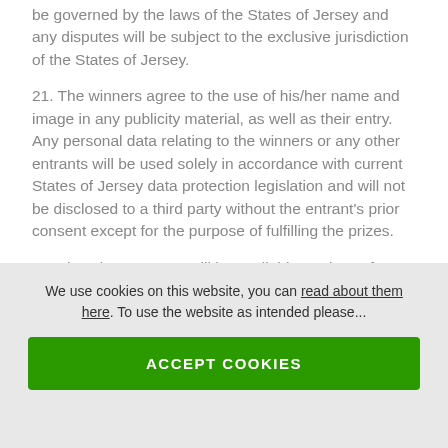be governed by the laws of the States of Jersey and any disputes will be subject to the exclusive jurisdiction of the States of Jersey.
21. The winners agree to the use of his/her name and image in any publicity material, as well as their entry. Any personal data relating to the winners or any other entrants will be used solely in accordance with current States of Jersey data protection legislation and will not be disclosed to a third party without the entrant's prior consent except for the purpose of fulfilling the prizes.
22. The winner names will be available 28 days after closing date by posting a request to the following
We use cookies on this website, you can read about them here. To use the website as intended please...
ACCEPT COOKIES